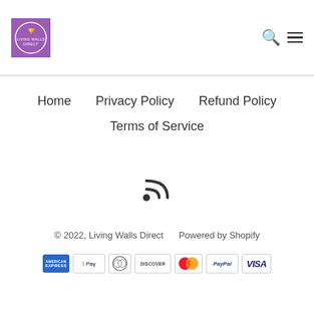[Figure (logo): Living Walls Direct logo — purple square with white circle containing crown/trophy icon and text LIVING WALLS DIRECT]
Living Walls Direct — header with logo, search icon, and menu icon
Home
Privacy Policy
Refund Policy
Terms of Service
[Figure (other): RSS feed icon]
© 2022, Living Walls Direct     Powered by Shopify
[Figure (other): Payment method icons: American Express, Apple Pay, Diners Club, Discover, Mastercard, PayPal, Visa]